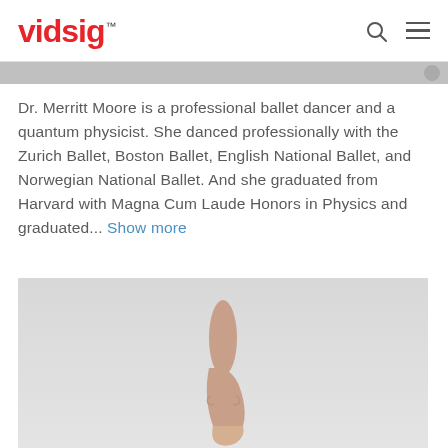vidsig™
Dr. Merritt Moore is a professional ballet dancer and a quantum physicist. She danced professionally with the Zurich Ballet, Boston Ballet, English National Ballet, and Norwegian National Ballet. And she graduated from Harvard with Magna Cum Laude Honors in Physics and graduated... Show more
[Figure (photo): Partial photo of a ballet dancer en pointe, showing only the lower leg/foot in a ballet shoe against a light gray background.]